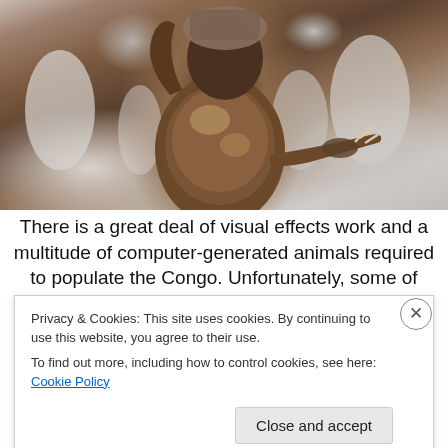[Figure (photo): A person in elaborate tribal/costume attire with brown textured garments and animal-claw accessories, arm raised, with other white-painted figures in the background.]
There is a great deal of visual effects work and a multitude of computer-generated animals required to populate the Congo. Unfortunately, some of these beasts
Privacy & Cookies: This site uses cookies. By continuing to use this website, you agree to their use.
To find out more, including how to control cookies, see here: Cookie Policy
Close and accept